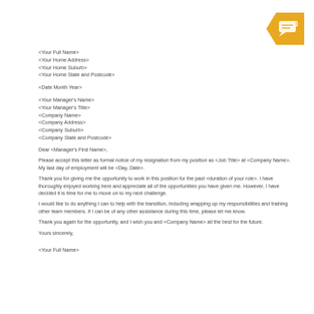[Figure (other): Yellow/gold badge with speech bubble icon and number 0, pointing left arrow shape]
<Your Full Name>
<Your Home Address>
<Your Home Suburb>
<Your Home State and Postcode>
<Date Month Year>
<Your Manager's Name>
<Your Manager's Title>
<Company Name>
<Company Address>
<Company Suburb>
<Company State and Postcode>
Dear <Manager's First Name>,
Please accept this letter as formal notice of my resignation from my position as <Job Title> at <Company Name>. My last day of employment will be <Day, Date>.
Thank you for giving me the opportunity to work in this position for the past <duration of your role>. I have thoroughly enjoyed working here and appreciate all of the opportunities you have given me. However, I have decided it is time for me to move on to my next challenge.
I would like to do anything I can to help with the transition, including wrapping up my responsibilities and training other team members. If I can be of any other assistance during this time, please let me know.
Thank you again for the opportunity, and I wish you and <Company Name> all the best for the future.
Yours sincerely,
<Your Full Name>